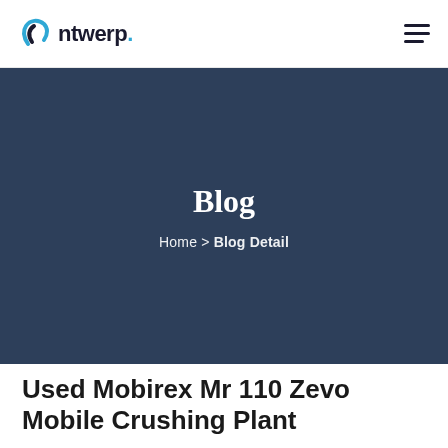Antwerp.
[Figure (other): Dark blue hero banner with 'Blog' heading and breadcrumb navigation showing Home > Blog Detail]
Blog
Home > Blog Detail
Used Mobirex Mr 110 Zevo Mobile Crushing Plant